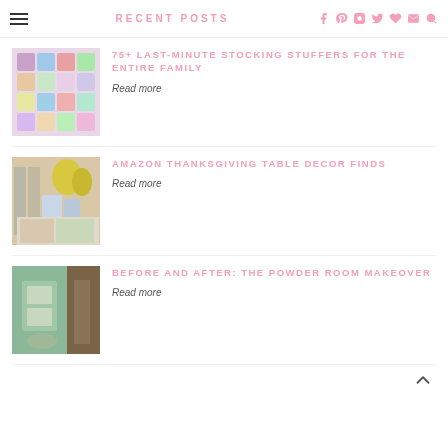RECENT POSTS
75+ LAST-MINUTE STOCKING STUFFERS FOR THE ENTIRE FAMILY
Read more
AMAZON THANKSGIVING TABLE DECOR FINDS
Read more
BEFORE AND AFTER: THE POWDER ROOM MAKEOVER
Read more